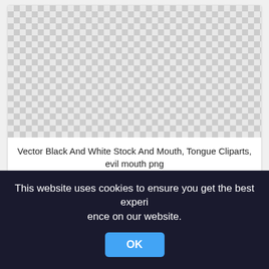[Figure (other): Transparent checkered background pattern representing an image placeholder]
Vector Black And White Stock And Mouth, Tongue Cliparts, evil mouth png
594x595px
[Figure (other): Second transparent checkered background pattern representing another image placeholder]
This website uses cookies to ensure you get the best experience on our website.
OK